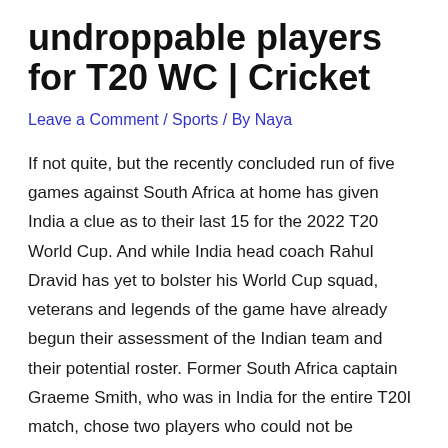undroppable players for T20 WC | Cricket
Leave a Comment / Sports / By Naya
If not quite, but the recently concluded run of five games against South Africa at home has given India a clue as to their last 15 for the 2022 T20 World Cup. And while India head coach Rahul Dravid has yet to bolster his World Cup squad, veterans and legends of the game have already begun their assessment of the Indian team and their potential roster. Former South Africa captain Graeme Smith, who was in India for the entire T20I match, chose two players who could not be removed from the Indian squad on Tuesday.
The South African legend was in awe of Hardik Pandya and Dinesh Karthik, both of whom returned to the Indian team after a long hiatus. While the star all-rounder had missed all